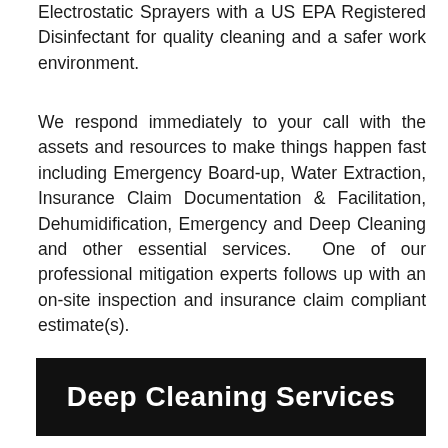Electrostatic Sprayers with a US EPA Registered Disinfectant for quality cleaning and a safer work environment.
We respond immediately to your call with the assets and resources to make things happen fast including Emergency Board-up, Water Extraction, Insurance Claim Documentation & Facilitation, Dehumidification, Emergency and Deep Cleaning and other essential services.  One of our professional mitigation experts follows up with an on-site inspection and insurance claim compliant estimate(s).
Deep Cleaning Services